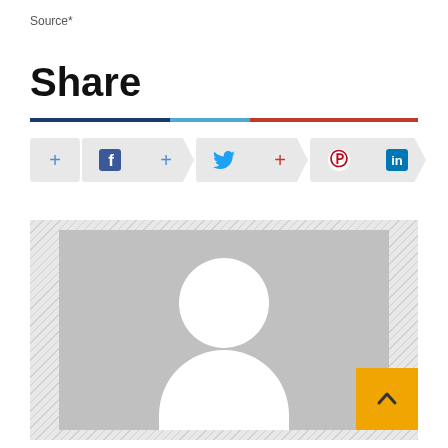Source*
Share
[Figure (infographic): Horizontal divider bar composed of three color segments: dark navy, light blue, and red]
[Figure (infographic): Social share buttons row: plus button, Facebook icon button with arrow, plus button with arrow, Twitter bird icon button with arrow, plus button with arrow, Pinterest icon button, LinkedIn icon button with arrow]
[Figure (photo): Default user profile placeholder image - grey rectangle with white circle head and white silhouette torso shape. Hatched border surround. Gold/amber scroll-to-top button with up caret in bottom right corner.]